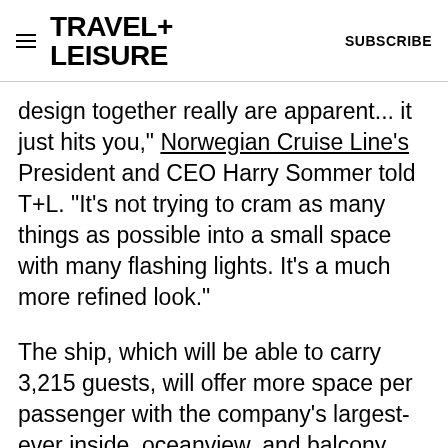TRAVEL+ LEISURE   SUBSCRIBE
design together really are apparent... it just hits you," Norwegian Cruise Line's President and CEO Harry Sommer told T+L. "It's not trying to cram as many things as possible into a small space with many flashing lights. It's a much more refined look."
The ship, which will be able to carry 3,215 guests, will offer more space per passenger with the company's largest-ever inside, oceanview, and balcony staterooms — and the biggest bathrooms in standard staterooms — as well as the largest variety of suite categories. Outside of the room, the ship will feature a full wrap-around deck complete with an